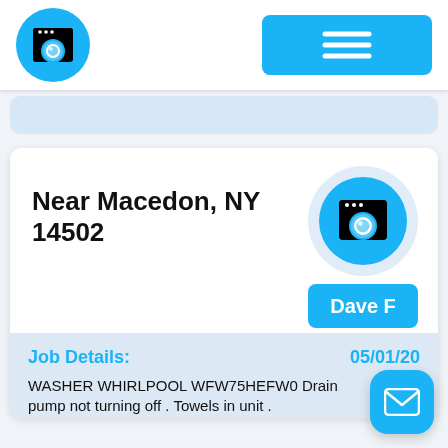[Figure (logo): Washing machine app logo: blue circle with washing machine icon (white)]
[Figure (screenshot): Hamburger menu button (blue rectangle with three white horizontal lines)]
Near Macedon, NY 14502
[Figure (logo): Washing machine icon in blue circle with light blue ring, inside card]
Dave F
Job Details:
05/01/20
WASHER WHIRLPOOL WFW75HEFW0 Drain pump not turning off . Towels in unit .